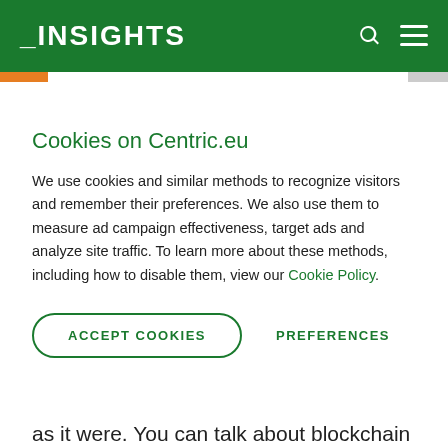_INSIGHTS
Cookies on Centric.eu
We use cookies and similar methods to recognize visitors and remember their preferences. We also use them to measure ad campaign effectiveness, target ads and analyze site traffic. To learn more about these methods, including how to disable them, view our Cookie Policy.
ACCEPT COOKIES   PREFERENCES
as it were. You can talk about blockchain